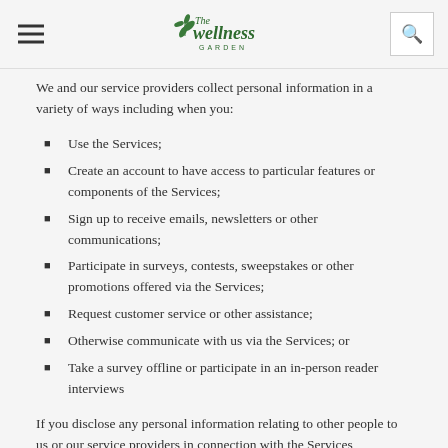The Wellness Garden
We and our service providers collect personal information in a variety of ways including when you:
Use the Services;
Create an account to have access to particular features or components of the Services;
Sign up to receive emails, newsletters or other communications;
Participate in surveys, contests, sweepstakes or other promotions offered via the Services;
Request customer service or other assistance;
Otherwise communicate with us via the Services; or
Take a survey offline or participate in an in-person reader interviews
If you disclose any personal information relating to other people to us or our service providers in connection with the Services